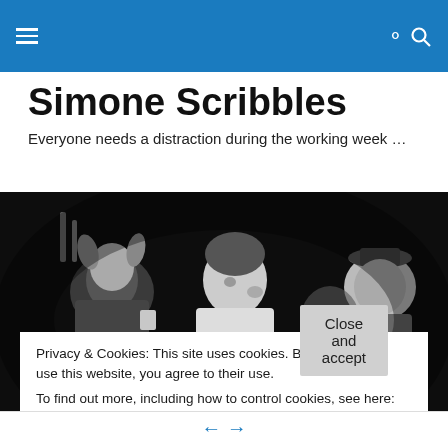Simone Scribbles — site navigation header with hamburger menu and search icon
Simone Scribbles
Everyone needs a distraction during the working week …
[Figure (photo): Black and white vintage photograph of three children at what appears to be a birthday party. The left child has pigtails, the center child is eating something, and the right child wears a hat. There are balloons visible in the background.]
Privacy & Cookies: This site uses cookies. By continuing to use this website, you agree to their use.
To find out more, including how to control cookies, see here: Cookie Policy
Close and accept